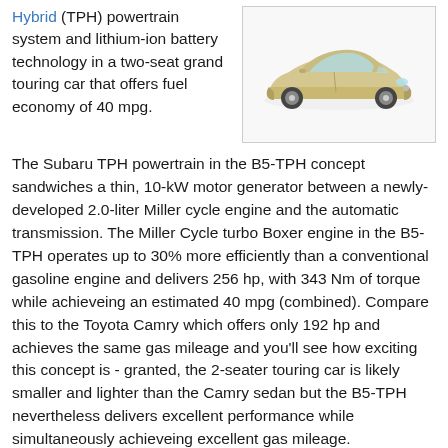Hybrid (TPH) powertrain system and lithium-ion battery technology in a two-seat grand touring car that offers fuel economy of 40 mpg.
[Figure (photo): Photo of a gold/champagne colored Subaru B5-TPH concept car, side/front three-quarter view, shown on a white background inside a light gray bordered box.]
The Subaru TPH powertrain in the B5-TPH concept sandwiches a thin, 10-kW motor generator between a newly-developed 2.0-liter Miller cycle engine and the automatic transmission. The Miller Cycle turbo Boxer engine in the B5-TPH operates up to 30% more efficiently than a conventional gasoline engine and delivers 256 hp, with 343 Nm of torque while achieveing an estimated 40 mpg (combined). Compare this to the Toyota Camry which offers only 192 hp and achieves the same gas mileage and you'll see how exciting this concept is - granted, the 2-seater touring car is likely smaller and lighter than the Camry sedan but the B5-TPH nevertheless delivers excellent performance while simultaneously achieveing excellent gas mileage.
Subaru's parent company, Fuji Heavy Industries, has been developing the TPH powertrain for future mass production...